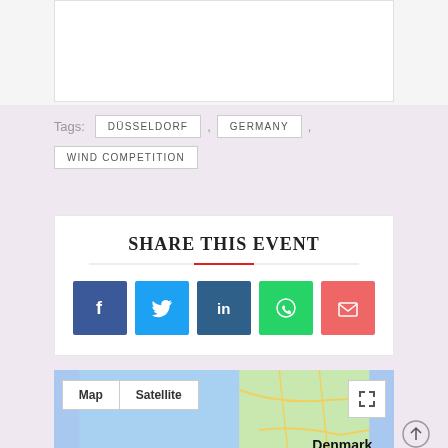Tags: DÜSSELDORF , GERMANY , WIND COMPETITION
SHARE THIS EVENT
[Figure (infographic): Social share buttons: Facebook (blue), Twitter (light blue), LinkedIn (dark blue), WhatsApp (green), Email (red/pink)]
[Figure (map): Google Map showing Denmark region with Map/Satellite toggle buttons and expand icon]